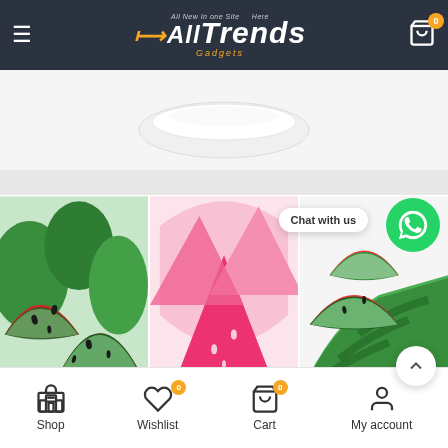All Trends Gadgets - navigation header with hamburger menu and cart
[Figure (photo): White plate/bowl partially visible at bottom center against light grey background]
[Figure (photo): Gallery of three watermelon slice photos side by side]
Chat with us
Shop | Wishlist (0) | Cart (0) | My account